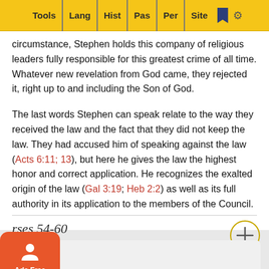Tools | Lang | Hist | Pas | Per | Site
circumstance, Stephen holds this company of religious leaders fully responsible for this greatest crime of all time. Whatever new revelation from God came, they rejected it, right up to and including the Son of God.
The last words Stephen can speak relate to the way they received the law and the fact that they did not keep the law. They had accused him of speaking against the law (Acts 6:11; 13), but here he gives the law the highest honor and correct application. He recognizes the exalted origin of the law (Gal 3:19; Heb 2:2) as well as its full authority in its application to the members of the Council.
rses 54-60
Step